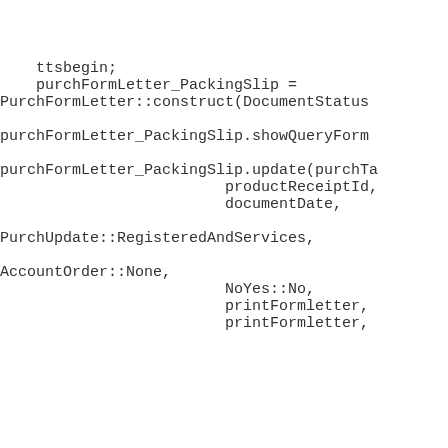ttsbegin;
    purchFormLetter_PackingSlip =
PurchFormLetter::construct(DocumentStatus

purchFormLetter_PackingSlip.showQueryForm

purchFormLetter_PackingSlip.update(purchTa
                         productReceiptId,
                         documentDate,

PurchUpdate::RegisteredAndServices,

AccountOrder::None,
                         NoYes::No,
                         printFormletter,
                         printFormletter,